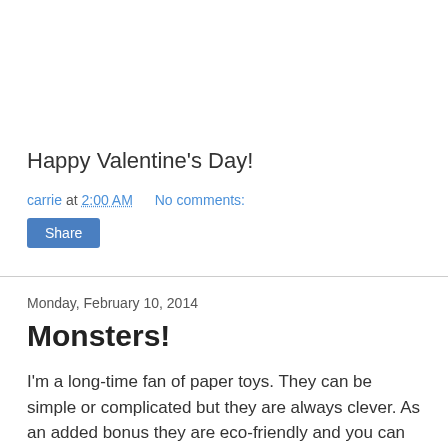Happy Valentine's Day!
carrie at 2:00 AM    No comments:
Share
Monday, February 10, 2014
Monsters!
I'm a long-time fan of paper toys. They can be simple or complicated but they are always clever. As an added bonus they are eco-friendly and you can recycle them when you're done. I most recently made two paper toys from the book Papertoy Monsters. The first is a yeti. He's pretty sturdy but either the cats or the kiddo have broken his arms